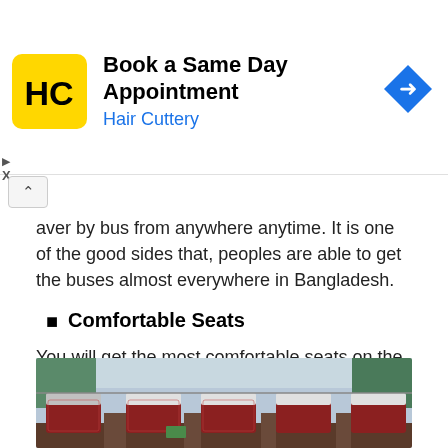[Figure (other): Hair Cuttery advertisement banner with HC logo, title 'Book a Same Day Appointment', subtitle 'Hair Cuttery', and a blue navigation arrow icon]
aver by bus from anywhere anytime. It is one of the good sides that, peoples are able to get the buses almost everywhere in Bangladesh.
Comfortable Seats
You will get the most comfortable seats on the bus journey. On the modern buses in Bangladesh are provided very long seats passengers can sleep in their seats.
[Figure (photo): Interior of a modern bus in Bangladesh showing rows of comfortable reclining seats with decorative fabric, white headrests/footrests, and overhead storage areas.]